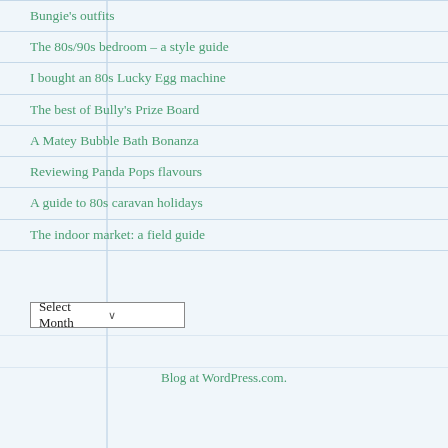Bungie's outfits
The 80s/90s bedroom – a style guide
I bought an 80s Lucky Egg machine
The best of Bully's Prize Board
A Matey Bubble Bath Bonanza
Reviewing Panda Pops flavours
A guide to 80s caravan holidays
The indoor market: a field guide
Select Month
Blog at WordPress.com.